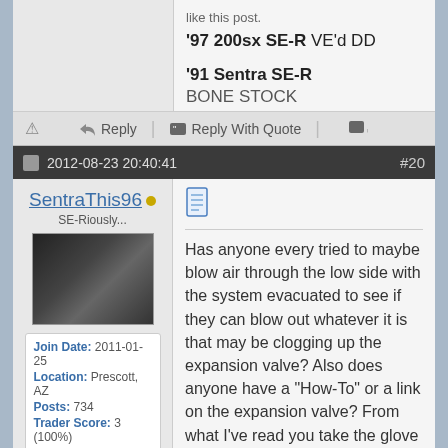like this post.
'97 200sx SE-R VE'd DD
'91 Sentra SE-R BONE STOCK
Reply | Reply With Quote |
2012-08-23 20:40:41  #20
SentraThis96
SE-Riously...
| Join Date: | 2011-01-25 |
| Location: | Prescott, AZ |
| Posts: | 734 |
| Trader Score: | 3 (100%) |
Has anyone every tried to maybe blow air through the low side with the system evacuated to see if they can blow out whatever it is that may be clogging up the expansion valve? Also does anyone have a "How-To" or a link on the expansion valve? From what I've read you take the glove box out and blower motor to get to